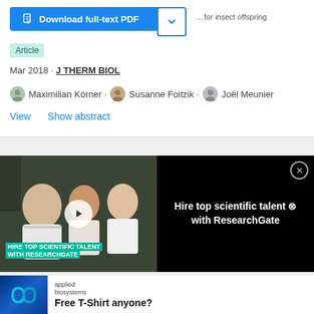[Figure (screenshot): Blue 'Download full-text PDF' button with document icon on left side of card header]
Article
Mar 2018 · J THERM BIOL
Maximilian Körner · Susanne Foitzik · Joël Meunier
View   Show abstract
[Figure (photo): ResearchGate advertisement banner showing scientists in a lab with text 'Hire top scientific talent with ResearchGate' and a play button overlay]
[Figure (photo): Applied Biosystems advertisement with infinity loop logo and text 'Free T-Shirt anyone?']